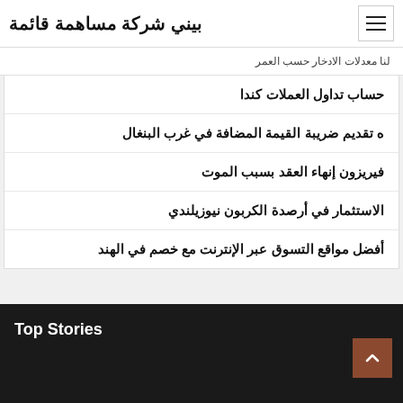بيني شركة مساهمة قائمة
لنا معدلات الادخار حسب العمر
حساب تداول العملات كندا
ه تقديم ضريبة القيمة المضافة في غرب البنغال
فيريزون إنهاء العقد بسبب الموت
الاستثمار في أرصدة الكربون نيوزيلندي
أفضل مواقع التسوق عبر الإنترنت مع خصم في الهند
Top Stories